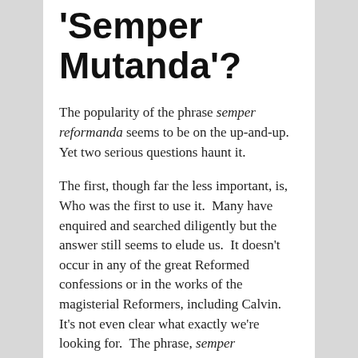'Semper Mutanda'?
The popularity of the phrase semper reformanda seems to be on the up-and-up. Yet two serious questions haunt it.
The first, though far the less important, is, Who was the first to use it. Many have enquired and searched diligently but the answer still seems to elude us. It doesn't occur in any of the great Reformed confessions or in the works of the magisterial Reformers, including Calvin. It's not even clear what exactly we're looking for. The phrase, semper reformanda, can't stand by itself, yet we don't seem to know what other bits were originally attached to it. Presumably, the subject of semper reformanda should be the object of...